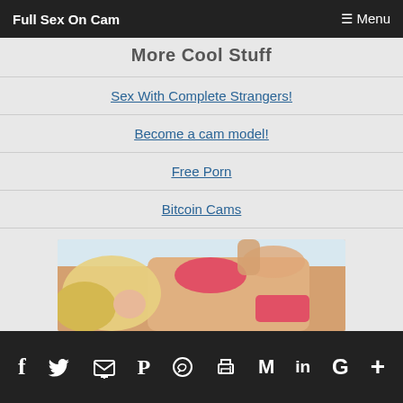Full Sex On Cam  ☰ Menu
More Cool Stuff
Sex With Complete Strangers!
Become a cam model!
Free Porn
Bitcoin Cams
XXX Cams
[Figure (photo): Woman in pink bikini lying down, blonde hair]
f  Twitter  Email  Pinterest  WhatsApp  Print  Gmail  LinkedIn  Google  +